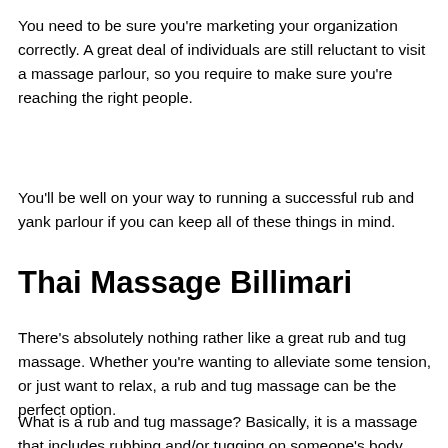You need to be sure you're marketing your organization correctly. A great deal of individuals are still reluctant to visit a massage parlour, so you require to make sure you're reaching the right people.
You'll be well on your way to running a successful rub and yank parlour if you can keep all of these things in mind.
Thai Massage Billimari
There's absolutely nothing rather like a great rub and tug massage. Whether you're wanting to alleviate some tension, or just want to relax, a rub and tug massage can be the perfect option.
What is a rub and tug massage? Basically, it is a massage that includes rubbing and/or tugging on someone's body. This can be